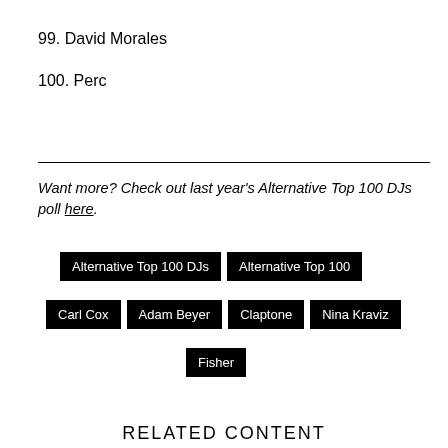99. David Morales
100. Perc
Want more? Check out last year's Alternative Top 100 DJs poll here.
Alternative Top 100 DJs | Alternative Top 100 | Carl Cox | Adam Beyer | Claptone | Nina Kraviz | Fisher
RELATED CONTENT